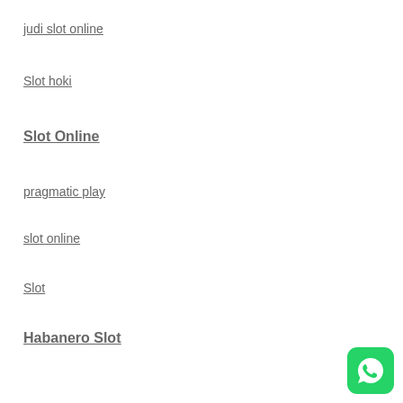judi slot online
Slot hoki
Slot Online
pragmatic play
slot online
Slot
Habanero Slot
[Figure (logo): WhatsApp icon button, green rounded square with white phone/speech bubble logo]